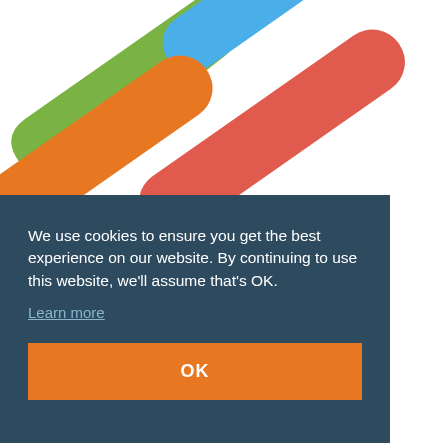[Figure (logo): Colorful S-shaped logo made of overlapping rounded bar shapes in green, blue, orange, and red/coral colors on a white background]
We use cookies to ensure you get the best experience on our website. By continuing to use this website, we'll assume that's OK.
Learn more
OK